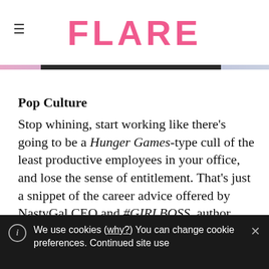FLARE
Pop Culture
Stop whining, start working like there's going to be a Hunger Games-type cull of the least productive employees in your office, and lose the sense of entitlement. That's just a snippet of the career advice offered by NastyGal CEO and #GIRLBOSS author Sophie Amoruso in this stellar New York
We use cookies (why?) You can change cookie preferences. Continued site use